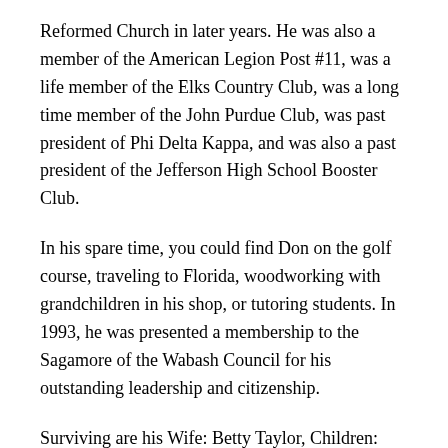Reformed Church in later years. He was also a member of the American Legion Post #11, was a life member of the Elks Country Club, was a long time member of the John Purdue Club, was past president of Phi Delta Kappa, and was also a past president of the Jefferson High School Booster Club.
In his spare time, you could find Don on the golf course, traveling to Florida, woodworking with grandchildren in his shop, or tutoring students. In 1993, he was presented a membership to the Sagamore of the Wabash Council for his outstanding leadership and citizenship.
Surviving are his Wife: Betty Taylor, Children: Lance Taylor (Kim) of Indianapolis, Kathy Sagorsky (Joe) of Goodyear, AZ, and David Taylor (Ann) of Indianapolis,